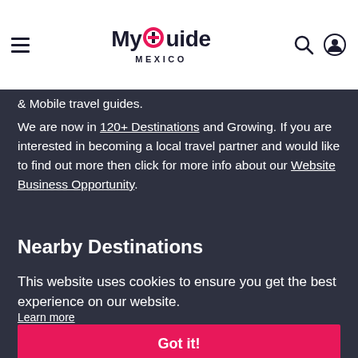MyGuide MEXICO
& Mobile travel guides.
We are now in 120+ Destinations and Growing. If you are interested in becoming a local travel partner and would like to find out more then click for more info about our Website Business Opportunity.
Nearby Destinations
This website uses cookies to ensure you get the best experience on our website.
Learn more
Got it!